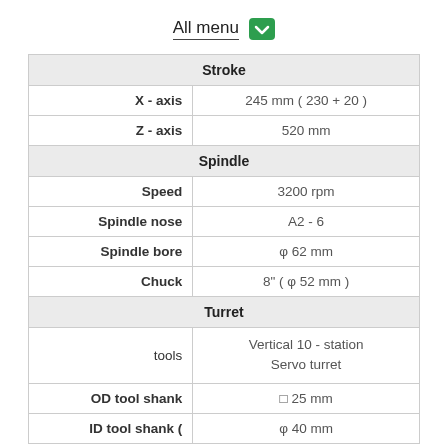All menu
|  |  |
| --- | --- |
| Stroke |  |
| X - axis | 245 mm ( 230 + 20 ) |
| Z - axis | 520 mm |
| Spindle |  |
| Speed | 3200 rpm |
| Spindle nose | A2 - 6 |
| Spindle bore | φ 62 mm |
| Chuck | 8" ( φ 52 mm ) |
| Turret |  |
| tools | Vertical 10 - station
Servo turret |
| OD tool shank | □ 25 mm |
| ID tool shank ( | φ 40 mm |